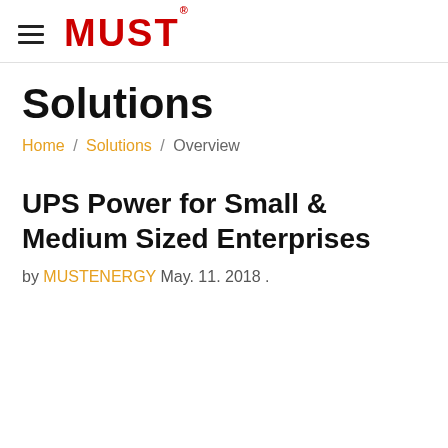MUST
Solutions
Home / Solutions / Overview
UPS Power for Small & Medium Sized Enterprises
by MUSTENERGY May. 11. 2018 .